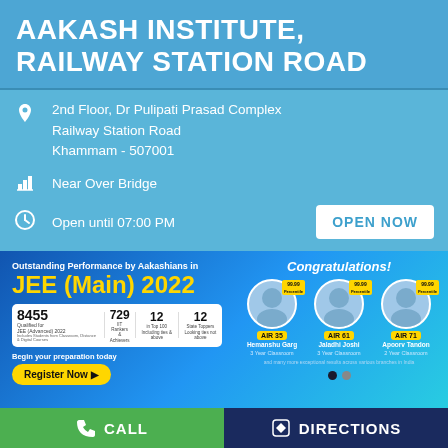AAKASH INSTITUTE, RAILWAY STATION ROAD
2nd Floor, Dr Pulipati Prasad Complex
Railway Station Road
Khammam - 507001
Near Over Bridge
Open until 07:00 PM
OPEN NOW
[Figure (infographic): Aakash Institute promotional banner for JEE (Main) 2022. Shows Outstanding Performance by Aakashians. JEE (Main) 2022. Stats: 8455 Qualified for JEE (Advanced) 2022, 729 IIT Rankers, 12 in Top 100, 12 State Toppers. Begin your preparation today. Register Now button. Congratulations section with three student photos: Hemanshu Garg AIR 35, Jaladhi Joshi AIR 61, Apoorv Tandon AIR 71, all with 99.99 percentile.]
CALL
DIRECTIONS